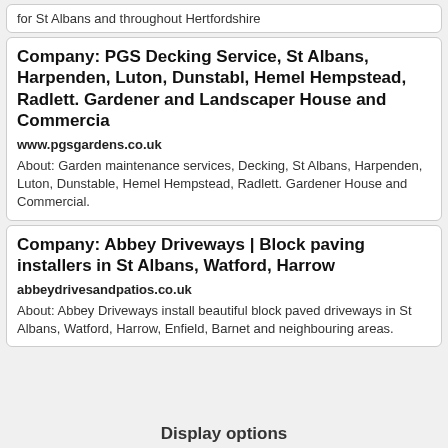for St Albans and throughout Hertfordshire
Company: PGS Decking Service, St Albans, Harpenden, Luton, Dunstabl, Hemel Hempstead, Radlett. Gardener and Landscaper House and Commercia
www.pgsgardens.co.uk
About: Garden maintenance services, Decking, St Albans, Harpenden, Luton, Dunstable, Hemel Hempstead, Radlett. Gardener House and Commercial.
Company: Abbey Driveways | Block paving installers in St Albans, Watford, Harrow
abbeydrivesandpatios.co.uk
About: Abbey Driveways install beautiful block paved driveways in St Albans, Watford, Harrow, Enfield, Barnet and neighbouring areas.
Display options